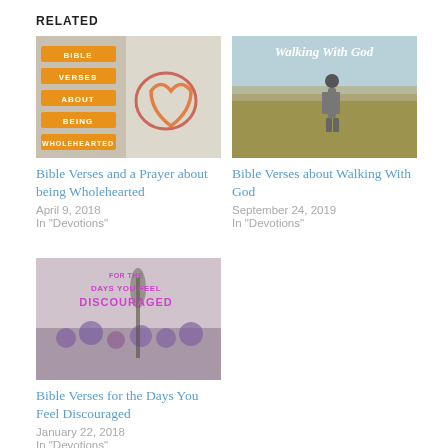RELATED
[Figure (photo): Orange banners reading BIBLE / VERSES / ABOUT / BEING / WHOLEHEARTED over a red string heart on a book]
Bible Verses and a Prayer about being Wholehearted
April 9, 2018
In "Devotions"
[Figure (photo): Person walking in tall golden grass with text Walking With God]
Bible Verses about Walking With God
September 24, 2019
In "Devotions"
[Figure (photo): Purple wildflowers in a misty field with text For the Days You Feel Discouraged]
Bible Verses for the Days You Feel Discouraged
January 22, 2018
In "Devotions"